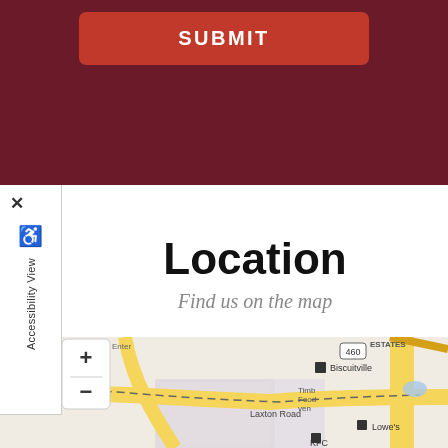[Figure (screenshot): Dark maroon header with a red Submit button centered at top]
[Figure (screenshot): Accessibility View panel on left side with close X, wheelchair icon, and vertical text reading 'Accessibility View']
Location
Find us on the map
[Figure (map): Street map showing Laxton Road area with landmarks including Biscuitville, Lowe's, KFC, Timb Food area, and route 460. Map has zoom in (+) and zoom out (-) controls. Shows ESTATES label at top. Roads in yellow/gold color on tan background.]